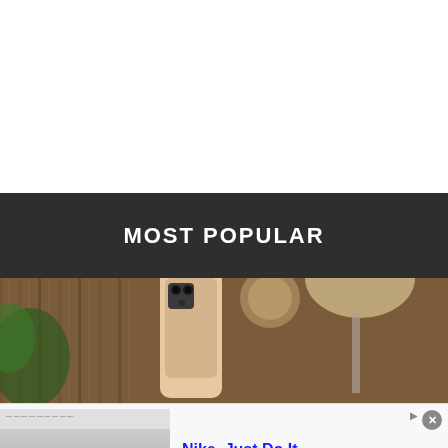MOST POPULAR
[Figure (photo): A rose-gold smartphone propped up against a wooden background with a lamp visible in the background]
[Figure (screenshot): Advertisement thumbnail showing a small screenshot]
Nike. Just Do It
Inspiring the world's athletes, Nike delivers the deals
www.nike.com